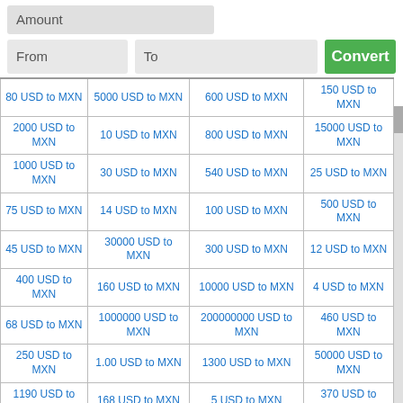Amount
From | To | Convert
| 80 USD to MXN | 5000 USD to MXN | 600 USD to MXN | 150 USD to MXN |
| 2000 USD to MXN | 10 USD to MXN | 800 USD to MXN | 15000 USD to MXN |
| 1000 USD to MXN | 30 USD to MXN | 540 USD to MXN | 25 USD to MXN |
| 75 USD to MXN | 14 USD to MXN | 100 USD to MXN | 500 USD to MXN |
| 45 USD to MXN | 30000 USD to MXN | 300 USD to MXN | 12 USD to MXN |
| 400 USD to MXN | 160 USD to MXN | 10000 USD to MXN | 4 USD to MXN |
| 68 USD to MXN | 1000000 USD to MXN | 200000000 USD to MXN | 460 USD to MXN |
| 250 USD to MXN | 1.00 USD to MXN | 1300 USD to MXN | 50000 USD to MXN |
| 1190 USD to MXN | 168 USD to MXN | 5 USD to MXN | 370 USD to MXN |
| 2640 USD to MXN | 200 USD to MXN | 1980 USD to MXN | 78 USD to MXN |
| 700 USD to MXN | 1.3 USD to MXN | 85 USD to MXN | 680 USD to MXN |
| 35.99 USD to MXN | 129 USD to MXN | 46000 USD to MXN | 120 USD to MXN |
| 22 USD to MXN | 1500 USD to MXN | 20000 USD to MXN | 20 USD to MXN |